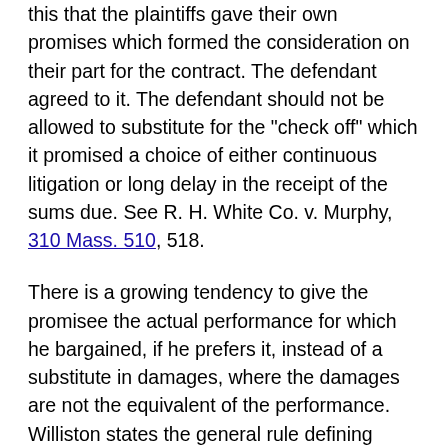this that the plaintiffs gave their own promises which formed the consideration on their part for the contract. The defendant agreed to it. The defendant should not be allowed to substitute for the "check off" which it promised a choice of either continuous litigation or long delay in the receipt of the sums due. See R. H. White Co. v. Murphy, 310 Mass. 510, 518.
There is a growing tendency to give the promisee the actual performance for which he bargained, if he prefers it, instead of a substitute in damages, where the damages are not the equivalent of the performance. Williston states the general rule defining instances where specific performance will be granted in these words, "where damages are an inadequate remedy and the nature of the contract is such that specific